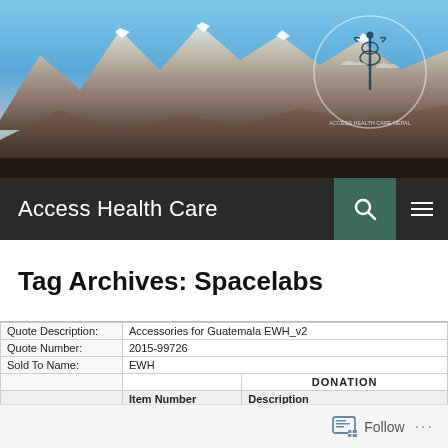[Figure (photo): Mountain landscape with snow-capped peaks under blue sky, with Access Health Care Nepal logo (medical caduceus in circle) overlaid top-right]
Access Health Care
Tag Archives: Spacelabs
|  | Item Number | Description |
| --- | --- | --- |
| Quote Description: | Accessories for Guatemala EWH_v2 |  |
| Quote Number: | 2015-99726 |  |
| Sold To Name: | EWH |  |
|  |  | DONATION |
|  | Item Number | Description |